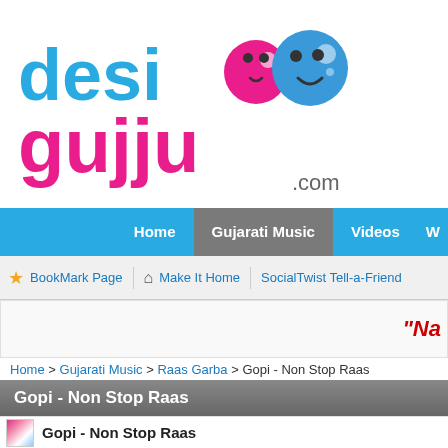[Figure (logo): Desi Gujju .com logo with colorful circular mascots]
Home | Gujarati Music | Videos | W
BookMark Page  Make It Home  SocialTwist Tell-a-Friend
"Na
Home > Gujarati Music > Raas Garba > Gopi - Non Stop Raas
Gopi - Non Stop Raas
Gopi - Non Stop Raas
Rating : ★★☆☆☆
Views : 25857
Songs : 2
Category : Raas Garba